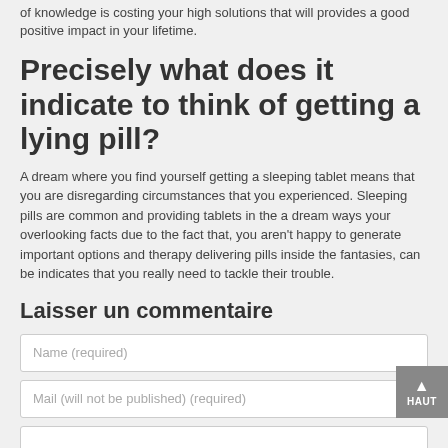of knowledge is costing your high solutions that will provides a good positive impact in your lifetime.
Precisely what does it indicate to think of getting a lying pill?
A dream where you find yourself getting a sleeping tablet means that you are disregarding circumstances that you experienced. Sleeping pills are common and providing tablets in the a dream ways your overlooking facts due to the fact that, you aren't happy to generate important options and therapy delivering pills inside the fantasies, can be indicates that you really need to tackle their trouble.
Laisser un commentaire
Name (required)
Mail (will not be published) (required)